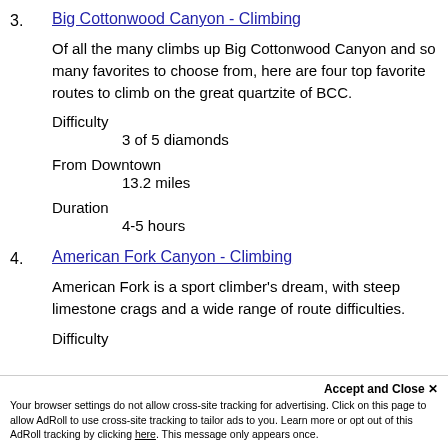3. Big Cottonwood Canyon - Climbing
Of all the many climbs up Big Cottonwood Canyon and so many favorites to choose from, here are four top favorite routes to climb on the great quartzite of BCC.
Difficulty
3 of 5 diamonds
From Downtown
13.2 miles
Duration
4-5 hours
4. American Fork Canyon - Climbing
American Fork is a sport climber's dream, with steep limestone crags and a wide range of route difficulties.
Difficulty
(partially visible)
From Downtown
(partially visible)
Your browser settings do not allow cross-site tracking for advertising. Click on this page to allow AdRoll to use cross-site tracking to tailor ads to you. Learn more or opt out of this AdRoll tracking by clicking here. This message only appears once.